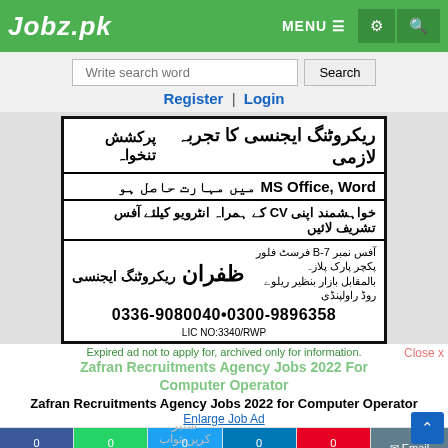Jobz.pk
Write search word | Search
Register | Login
[Figure (other): Zafran Recruitment Agency job advertisement in Urdu. Shows text about recruitment agency experience required, MS Office Word skills required, bring CV for interview, company name Zafran Recruiting Agency, phone numbers 0336-9080040 and 0300-9896358, LIC NO:3340/RWP]
Expired ad not to apply for, archived only for information.
Zafran Recruitments Agency Jobs 2022 for Computer Operator
Enlarge Job Ad
0  0  0  0  0 Share WhatsApp Tweet Share Pin Email
Previous Job | Next Job | View Full Image | Download | Refresh Image
Original Source: https://www.express.com.pk/epaper/Index.aspx?Issue=NP_ISB&Page=National_Page003&Date=20220527&Pageno